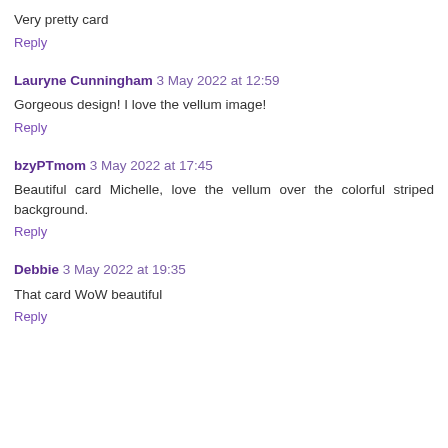Very pretty card
Reply
Lauryne Cunningham 3 May 2022 at 12:59
Gorgeous design! I love the vellum image!
Reply
bzyPTmom 3 May 2022 at 17:45
Beautiful card Michelle, love the vellum over the colorful striped background.
Reply
Debbie 3 May 2022 at 19:35
That card WoW beautiful
Reply